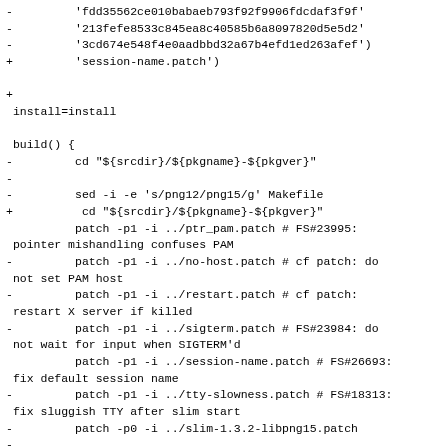diff snippet showing removed and added lines in a PKGBUILD/build script patch